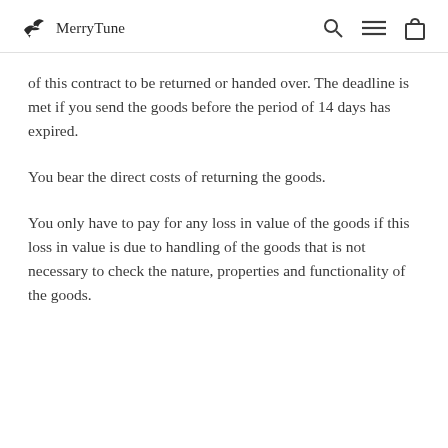MerryTune
of this contract to be returned or handed over. The deadline is met if you send the goods before the period of 14 days has expired.
You bear the direct costs of returning the goods.
You only have to pay for any loss in value of the goods if this loss in value is due to handling of the goods that is not necessary to check the nature, properties and functionality of the goods.